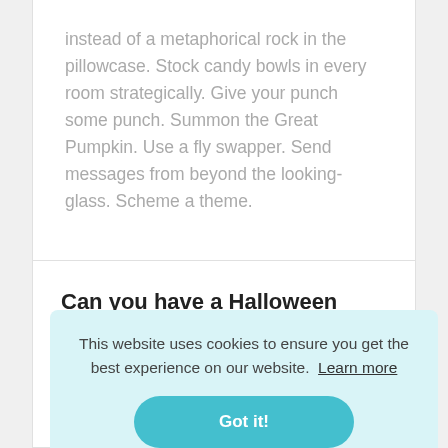instead of a metaphorical rock in the pillowcase. Stock candy bowls in every room strategically. Give your punch some punch. Summon the Great Pumpkin. Use a fly swapper. Send messages from beyond the looking-glass. Scheme a theme.
Can you have a Halloween party
This website uses cookies to ensure you get the best experience on our website.  Learn more
Got it!
especially those with children. It's not